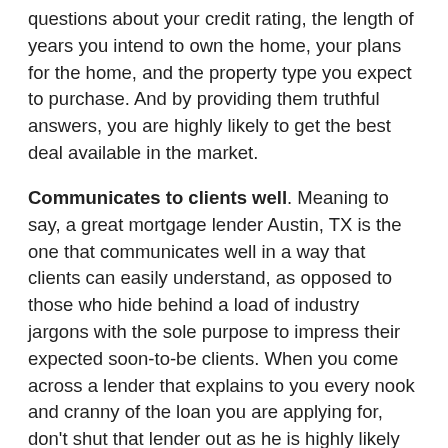questions about your credit rating, the length of years you intend to own the home, your plans for the home, and the property type you expect to purchase. And by providing them truthful answers, you are highly likely to get the best deal available in the market.
Communicates to clients well. Meaning to say, a great mortgage lender Austin, TX is the one that communicates well in a way that clients can easily understand, as opposed to those who hide behind a load of industry jargons with the sole purpose to impress their expected soon-to-be clients. When you come across a lender that explains to you every nook and cranny of the loan you are applying for, don't shut that lender out as he is highly likely to give you the best deal available out there.
Solve problems and closes on-time. A top-notch